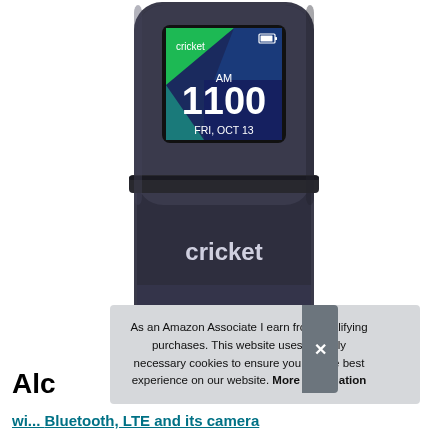[Figure (photo): A Cricket-branded flip phone with its screen showing 'AM 1100' and 'FRI, OCT 13'. The phone is dark gray/charcoal color with 'cricket' branding on the lower half. The screen shows the Cricket logo in the top-left corner and a battery icon in the top-right.]
As an Amazon Associate I earn from qualifying purchases. This website uses the only necessary cookies to ensure you get the best experience on our website. More information
Alc
wi...